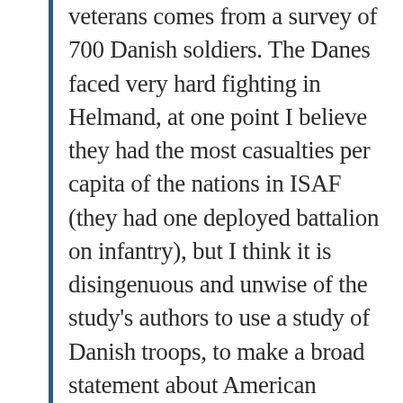veterans comes from a survey of 700 Danish soldiers. The Danes faced very hard fighting in Helmand, at one point I believe they had the most casualties per capita of the nations in ISAF (they had one deployed battalion on infantry), but I think it is disingenuous and unwise of the study's authors to use a study of Danish troops, to make a broad statement about American veterans.
For your reference, I was a Marine combat engineer officer for ten years. I have PTSD, TBI and neuro-